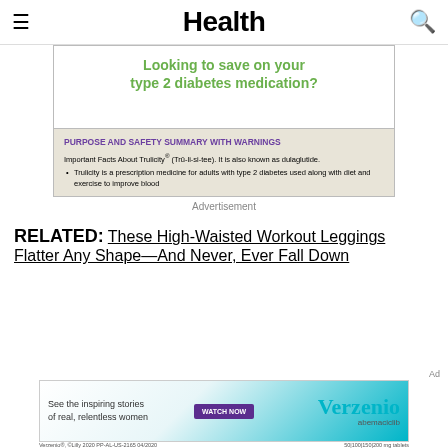Health
[Figure (other): Advertisement box with green text: 'Looking to save on your type 2 diabetes medication?' and a safety warning section with purple header 'PURPOSE AND SAFETY SUMMARY WITH WARNINGS' on beige background, with text about Trulicity (dulaglutide)]
Advertisement
RELATED: These High-Waisted Workout Leggings Flatter Any Shape—And Never, Ever Fall Down
[Figure (other): Verzenio (abemaciclib) advertisement banner: 'See the inspiring stories of real, relentless women' with WATCH NOW button and Verzenio logo. Verzenio®, ©Lilly 2020 PP-AL-US-2165 04/2020]